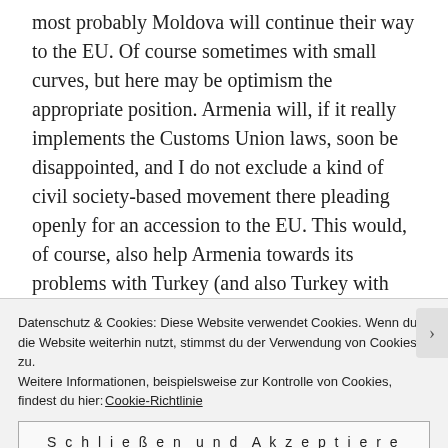most probably Moldova will continue their way to the EU. Of course sometimes with small curves, but here may be optimism the appropriate position. Armenia will, if it really implements the Customs Union laws, soon be disappointed, and I do not exclude a kind of civil society-based movement there pleading openly for an accession to the EU. This would, of course, also help Armenia towards its problems with Turkey (and also Turkey with Armenia), and with Azerbaijan, including the issue of Nagorno-Karabakh. Azerbaijan will probably not be the Primary subject of any Maidan follo...
Datenschutz & Cookies: Diese Website verwendet Cookies. Wenn du die Website weiterhin nutzt, stimmst du der Verwendung von Cookies zu. Weitere Informationen, beispielsweise zur Kontrolle von Cookies, findest du hier: Cookie-Richtlinie
Schließen und Akzeptieren